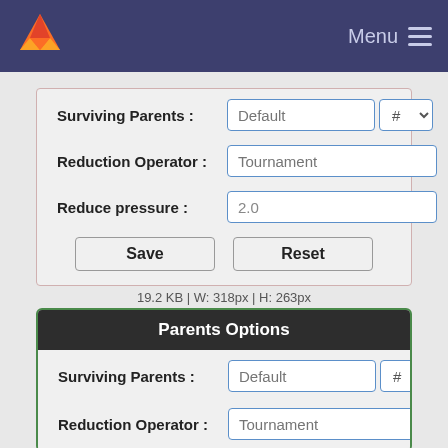Menu
Surviving Parents : Default # ▼
Reduction Operator : Tournament
Reduce pressure : 2.0
Save    Reset
19.2 KB | W: 318px | H: 263px
Parents Options
Surviving Parents : Default # ▼
Reduction Operator : Tournament